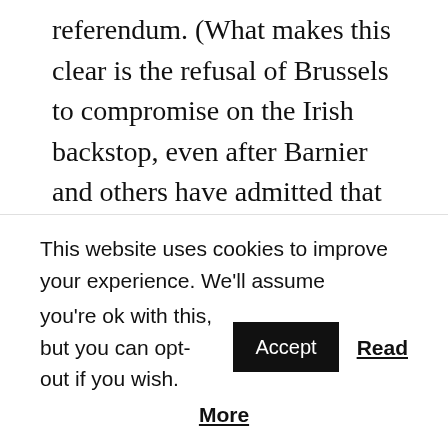referendum. (What makes this clear is the refusal of Brussels to compromise on the Irish backstop, even after Barnier and others have admitted that in the event of a ‘no deal’ Brexit, rather than impose physical controls at the Irish border, they will find technological alternatives – which is precisely the idea, previously dismissed as ‘magical thinking’, that British politicians have been pressing for when demanding a change to the backstop.)

For nearly three years now, there has been a stream of
This website uses cookies to improve your experience. We'll assume you're ok with this, but you can opt-out if you wish. Accept Read More